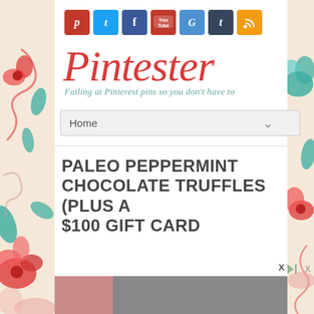[Figure (illustration): Decorative floral pattern background on left and right sides of page, featuring red, teal, and cream colored swirling flowers and leaves]
[Figure (logo): Pintester logo - red cursive script text reading 'Pintester' with teal italic tagline 'Failing at Pinterest pins so you don't have to']
[Figure (infographic): Row of 7 colored social media icon buttons: Pinterest (red, P), Twitter (light blue, t), Facebook (dark blue, f), YouTube (red, You tube icon), Google+ (blue, G), Tumblr (dark blue, t), RSS (orange, wifi/rss icon)]
Home
PALEO PEPPERMINT CHOCOLATE TRUFFLES (PLUS A $100 GIFT CARD